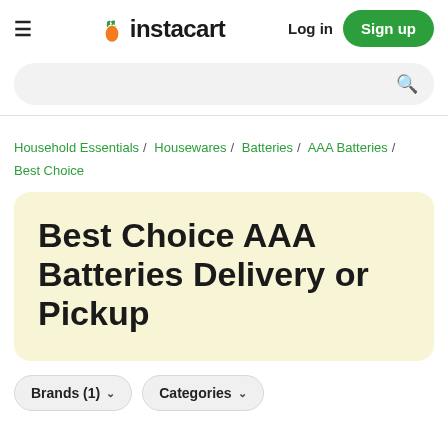instacart — Log in | Sign up
Search bar
Household Essentials / Housewares / Batteries / AAA Batteries / Best Choice
Best Choice AAA Batteries Delivery or Pickup
Brands (1) ∨   Categories ∨